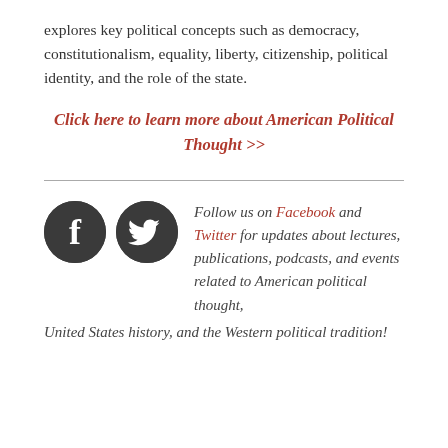explores key political concepts such as democracy, constitutionalism, equality, liberty, citizenship, political identity, and the role of the state.
Click here to learn more about American Political Thought >>
[Figure (illustration): Facebook and Twitter dark circular social media icons side by side]
Follow us on Facebook and Twitter for updates about lectures, publications, podcasts, and events related to American political thought, United States history, and the Western political tradition!